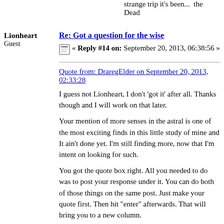strange trip it's been...  the Dead
Lionheart
Guest
Re: Got a question for the wise
« Reply #14 on: September 20, 2013, 06:38:56 »
Quote from: DraregElder on September 20, 2013, 02:33:28
I guess not Lionheart, I don't 'got it' after all. Thanks though and I will work on that later.
Your mention of more senses in the astral is one of the most exciting finds in this little study of mine and It ain't done yet. I'm still finding more, now that I'm intent on looking for such.
You got the quote box right. All you needed to do was to post your response under it. You can do both of those things on the same post. Just make your quote first. Then hit "enter" afterwards. That will bring you to a new column.
In this article it speaks of the Ancient Egyptians or whomever dwelled here before